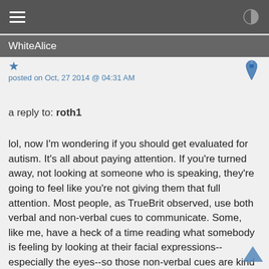WhiteAlice
posted on Oct, 27 2014 @ 04:31 AM
a reply to: roth1
lol, now I'm wondering if you should get evaluated for autism. It's all about paying attention. If you're turned away, not looking at someone who is speaking, they're going to feel like you're not giving them that full attention. Most people, as TrueBrit observed, use both verbal and non-verbal cues to communicate. Some, like me, have a heck of a time reading what somebody is feeling by looking at their facial expressions--especially the eyes--so those non-verbal cues are kind of meaningless. While yes, it seems like it would be inefficient in many cases to stop and make that eye contact, most people in this world appreciate it. Growing up autistic, my lack of eye contact would get people mad at me for "not listening" or "not paying attention" and well, I'd get in trouble